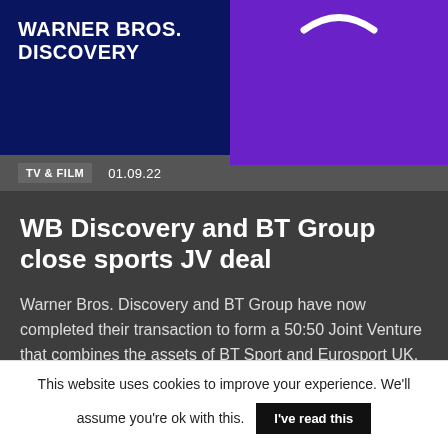[Figure (logo): Warner Bros. Discovery logo on dark navy blue background]
[Figure (logo): Partial circular logo/symbol on purple background]
TV & FILM   01.09.22
WB Discovery and BT Group close sports JV deal
Warner Bros. Discovery and BT Group have now completed their transaction to form a 50:50 Joint Venture that combines the assets of BT Sport and Eurosport UK. The move brings together sports coverage including the Olympic Games. >>>
This website uses cookies to improve your experience. We'll assume you're ok with this.  I've read this